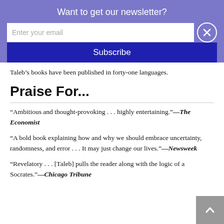Want to get our newsletter?
Taleb’s books have been published in forty-one languages.
Praise For...
“Ambitious and thought-provoking . . . highly entertaining.”—The Economist
“A bold book explaining how and why we should embrace uncertainty, randomness, and error . . . It may just change our lives.”—Newsweek
“Revelatory . . . [Taleb] pulls the reader along with the logic of a Socrates.”—Chicago Tribune